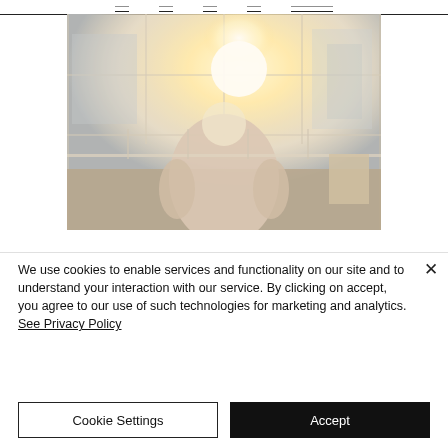— navigation bar with underlined menu items —
[Figure (photo): A person seen from behind sitting at a desk in a bright office space with large floor-to-ceiling windows and sunlight flaring through, viewed in warm tones.]
We use cookies to enable services and functionality on our site and to understand your interaction with our service. By clicking on accept, you agree to our use of such technologies for marketing and analytics. See Privacy Policy
Cookie Settings
Accept